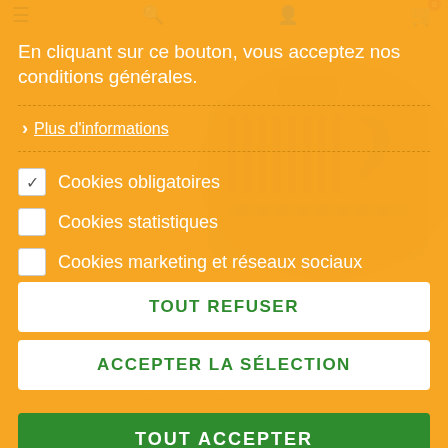En cliquant sur ce bouton, vous acceptez nos conditions générales.
Plus d'informations
Cookies obligatoires
Cookies statistiques
Cookies marketing et réseaux sociaux
TOUT REFUSER
ACCEPTER LA SÉLECTION
PIECES - KRAFTWERK
TOUT ACCEPTER